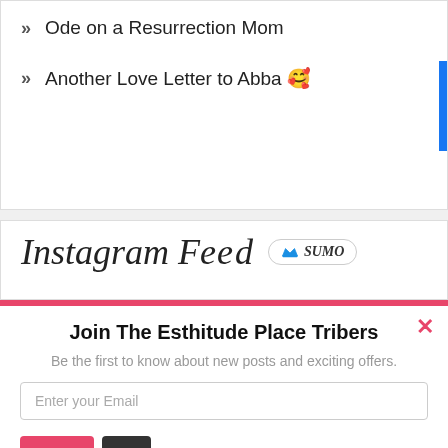Ode on a Resurrection Mom
Another Love Letter to Abba 🥰
[Figure (screenshot): Instagram Feed section with Sumo badge overlay]
Join The Esthitude Place Tribers
Be the first to know about new posts and exciting offers.
Enter your Email
Join Now
Not yet